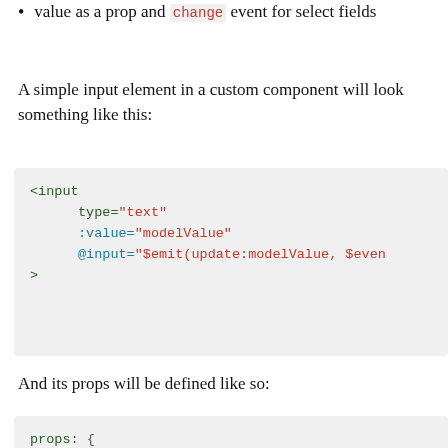value as a prop and change event for select fields
A simple input element in a custom component will look something like this:
[Figure (screenshot): Code block showing a Vue HTML input element with type='text', :value='modelValue', and @input='$emit(update:modelValue, $event...']
And its props will be defined like so:
[Figure (screenshot): Code block showing props: { modelValue: {]